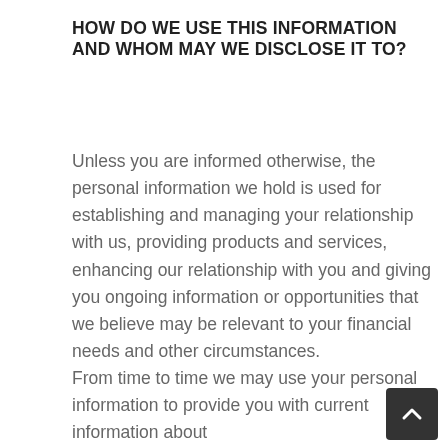HOW DO WE USE THIS INFORMATION AND WHOM MAY WE DISCLOSE IT TO?
Unless you are informed otherwise, the personal information we hold is used for establishing and managing your relationship with us, providing products and services, enhancing our relationship with you and giving you ongoing information or opportunities that we believe may be relevant to your financial needs and other circumstances.
From time to time we may use your personal information to provide you with current information about